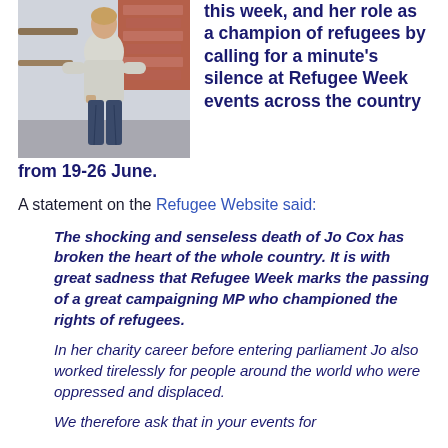[Figure (photo): A woman in a grey sweater and dark jeans standing by a railing outdoors]
this week, and her role as a champion of refugees by calling for a minute's silence at Refugee Week events across the country from 19-26 June.
A statement on the Refugee Website said:
The shocking and senseless death of Jo Cox has broken the heart of the whole country. It is with great sadness that Refugee Week marks the passing of a great campaigning MP who championed the rights of refugees.
In her charity career before entering parliament Jo also worked tirelessly for people around the world who were oppressed and displaced.
We therefore ask that in your events for